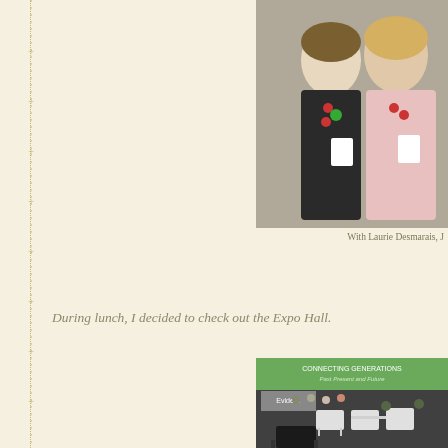[Figure (photo): Two women smiling at the camera, one wearing a black cardigan with colorful necklace, the other in a light pink top, both with conference badges]
With Laurie Desmarais, J
During lunch, I decided to check out the Expo Hall.
[Figure (photo): Expo Hall at a genealogy conference showing booths, attendees milling around, white lounge chairs, and a large green screen at the back reading 'Connecting Generations Past Present and Future']
The Me